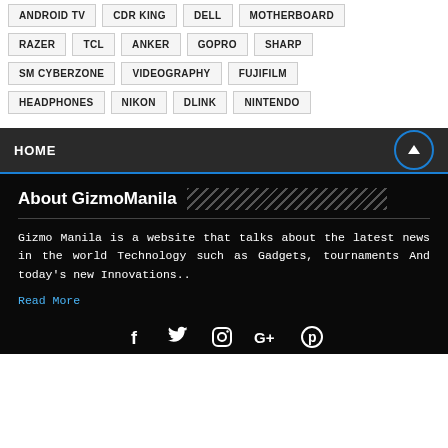ANDROID TV, CDR KING, DELL, MOTHERBOARD, RAZER, TCL, ANKER, GOPRO, SHARP, SM CYBERZONE, VIDEOGRAPHY, FUJIFILM, HEADPHONES, NIKON, DLINK, NINTENDO
HOME
About GizmoManila
Gizmo Manila is a website that talks about the latest news in the world Technology such as Gadgets, tournaments And today's new Innovations..
Read More